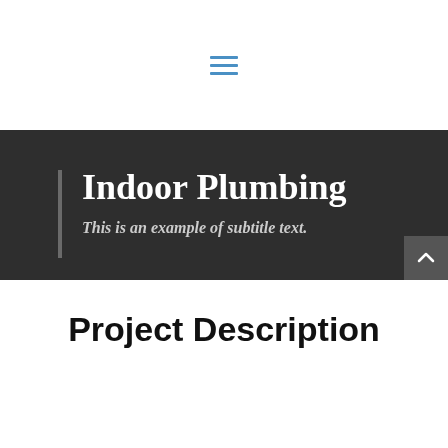[Figure (other): Hamburger menu icon with three horizontal blue lines]
Indoor Plumbing
This is an example of subtitle text.
Project Description